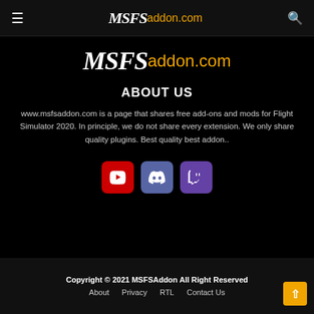MSFSaddon.com
[Figure (logo): MSFSaddon.com center logo — MSFS in white serif italic, addon.com in orange sans-serif]
ABOUT US
www.msfsaddon.com is a page that shares free add-ons and mods for Flight Simulator 2020. In principle, we do not share every extension. We only share quality plugins. Best quality best addon..
[Figure (infographic): Three social media icon buttons: YouTube (red), Discord (blue-purple), Twitch (purple)]
Copyright © 2021 MSFSAddon All Right Reserved | About  Privacy  RTL  Contact Us